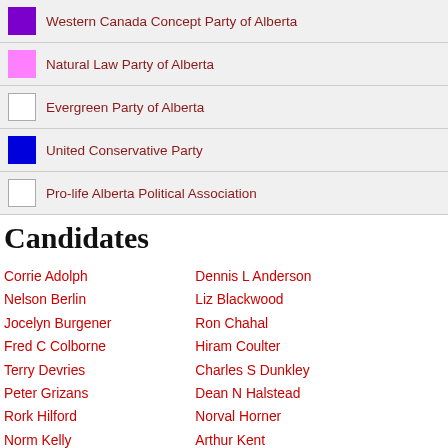| Color | Party Name |
| --- | --- |
| purple | Western Canada Concept Party of Alberta |
| pink | Natural Law Party of Alberta |
| white | Evergreen Party of Alberta |
| blue | United Conservative Party |
| white | Pro-life Alberta Political Association |
Candidates
Corrie Adolph
Dennis L Anderson
Nelson Berlin
Liz Blackwood
Jocelyn Burgener
Ron Chahal
Fred C Colborne
Hiram Coulter
Terry Devries
Charles S Dunkley
Peter Grizans
Dean N Halstead
Rork Hilford
Norval Horner
Norm Kelly
Arthur Kent
Lindsay Luhnau
Graham Mackenzie
Mairi Matheson
Kenneth J P Mazeroll
Glenn Miller
J Bruce Miller
Garth Mundle
Pat Murray